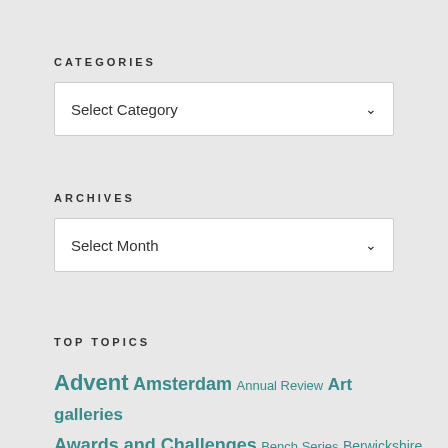CATEGORIES
Select Category
ARCHIVES
Select Month
TOP TOPICS
Advent Amsterdam Annual Review Art galleries Awards and Challenges Bench Series Berwickshire Castles...